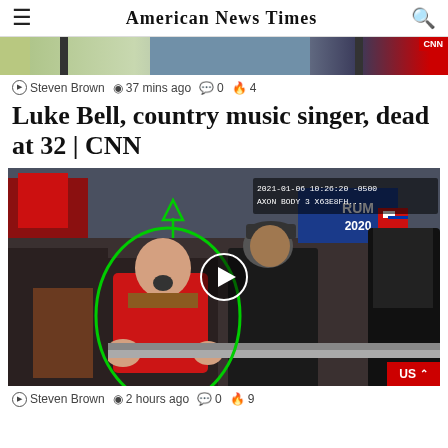American News Times
[Figure (photo): Partial image of a news photo at top of page, showing outdoor scene]
Steven Brown  37 mins ago  0  4
Luke Bell, country music singer, dead at 32 | CNN
[Figure (screenshot): Video thumbnail showing crowd scene at a protest/rally with a man in red circled in green, body camera timestamp overlay reads 2021-01-06, play button overlay, US badge in corner]
Steven Brown  2 hours ago  0  9